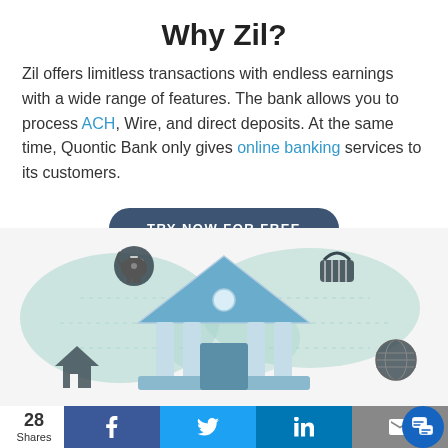Why Zil?
Zil offers limitless transactions with endless earnings with a wide range of features. The bank allows you to process ACH, Wire, and direct deposits. At the same time, Quontic Bank only gives online banking services to its customers.
[Figure (illustration): Illustration of a bank building with a triangular roof, world map background in teal, piggy bank icon, shopping basket icon, globe icon, and house icon representing global banking features.]
28 Shares | Facebook | Twitter | LinkedIn | Email | Chat